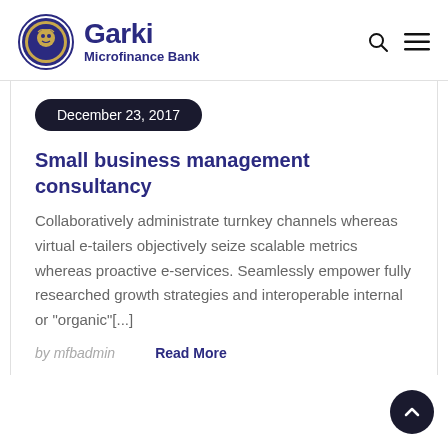Garki Microfinance Bank
December 23, 2017
Small business management consultancy
Collaboratively administrate turnkey channels whereas virtual e-tailers objectively seize scalable metrics whereas proactive e-services. Seamlessly empower fully researched growth strategies and interoperable internal or "organic"[...]
by mfbadmin
Read More